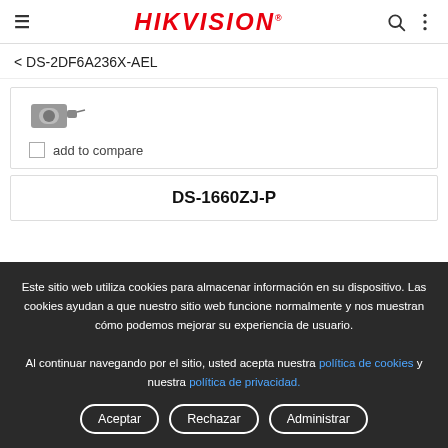HIKVISION
< DS-2DF6A236X-AEL
[Figure (photo): Partial camera product image (cropped)]
add to compare
DS-1660ZJ-P
Este sitio web utiliza cookies para almacenar información en su dispositivo. Las cookies ayudan a que nuestro sitio web funcione normalmente y nos muestran cómo podemos mejorar su experiencia de usuario.
Al continuar navegando por el sitio, usted acepta nuestra política de cookies y nuestra política de privacidad.
Aceptar | Rechazar | Administrar